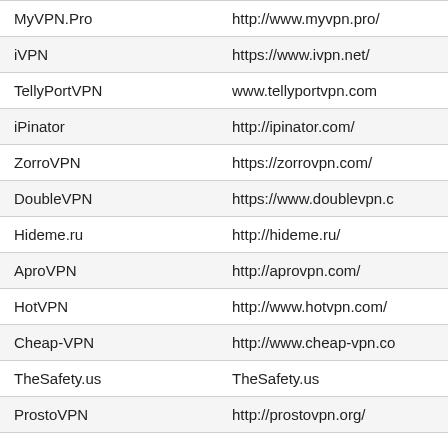| Name | URL |
| --- | --- |
| MyVPN.Pro | http://www.myvpn.pro/ |
| iVPN | https://www.ivpn.net/ |
| TellyPortVPN | www.tellyportvpn.com |
| iPinator | http://ipinator.com/ |
| ZorroVPN | https://zorrovpn.com/ |
| DoubleVPN | https://www.doublevpn.c |
| Hideme.ru | http://hideme.ru/ |
| AproVPN | http://aprovpn.com/ |
| HotVPN | http://www.hotvpn.com/ |
| Cheap-VPN | http://www.cheap-vpn.co |
| TheSafety.us | TheSafety.us |
| ProstoVPN | http://prostovpn.org/ |